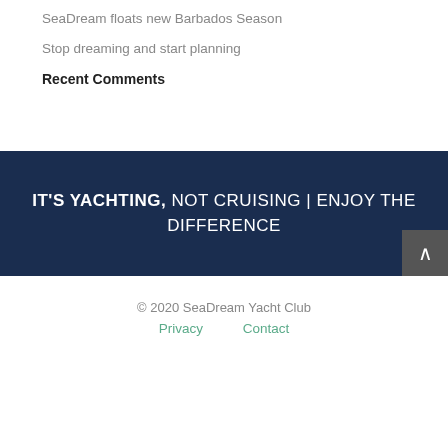SeaDream floats new Barbados Season
Stop dreaming and start planning
Recent Comments
IT'S YACHTING, NOT CRUISING | ENJOY THE DIFFERENCE
© 2020 SeaDream Yacht Club
Privacy    Contact